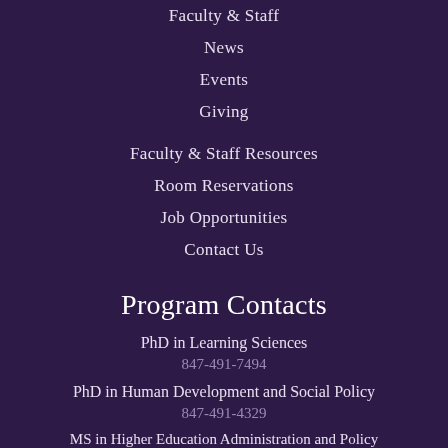Faculty & Staff
News
Events
Giving
Faculty & Staff Resources
Room Reservations
Job Opportunities
Contact Us
Program Contacts
PhD in Learning Sciences
847-491-7494
PhD in Human Development and Social Policy
847-491-4329
MS in Higher Education Administration and Policy